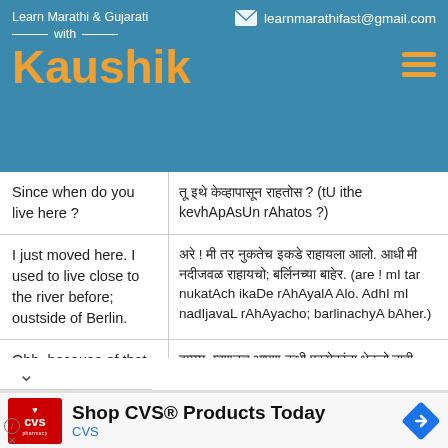Learn Marathi & Gujarati with Kaushik | learnmarathifast@gmail.com
| English | Marathi (transliteration) |
| --- | --- |
| Since when do you live here ? | तू इथे केव्हापासून राहतोस ? (tU ithe kevhApAsUn rAhatos ?) |
| I just moved here. I used to live close to the river before; oustside of Berlin. | अरे ! मी तर नुकतेच इकडे राहायला आलो. आधी मी नदीजवळ राहायचो; बर्लिनच्या बाहेर. (are ! mI tar nukatAch ikaDe rAhAyalA Alo. AdhI mI nadIjavaL rAhAyacho; barlinachyA bAher.) |
| Ohh, because of that we didn't see each other. | हम्म्म्म. म्हणूनच आपण कधी एकमेकांना भेटलो नाही. (hmmm. mhaNUnach ApaN kadhI ekemekAMnA bheTalo nAhI.) |
[Figure (screenshot): CVS Pharmacy advertisement banner: Shop CVS® Products Today]
Shop CVS® Products Today
CVS